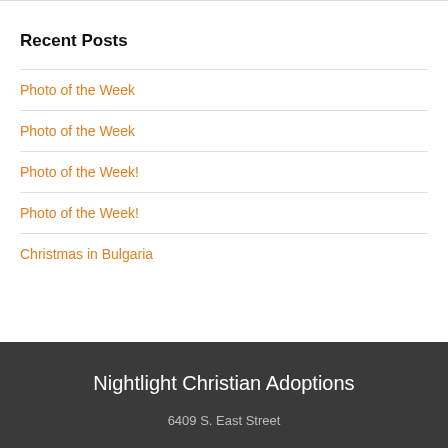Recent Posts
Photo of the Week
Photo of the Week
Photo of the Week!
Photo of the Week!
Christmas in Bulgaria
Nightlight Christian Adoptions
6409 S. East Street